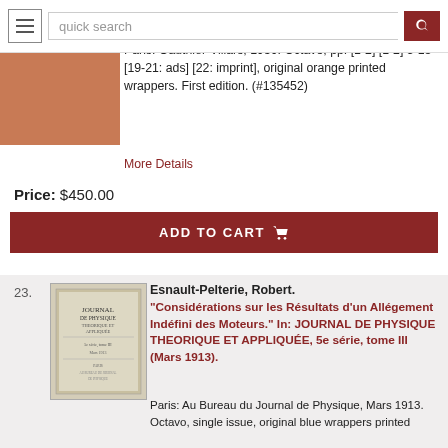quick search
Paris: Gauthier-Villars, 1950. Octavo, pp. [1-2] [1-2] 3-18 [19-21: ads] [22: imprint], original orange printed wrappers. First edition. (#135452)
More Details
Price: $450.00
ADD TO CART
23.
Esnault-Pelterie, Robert.
"Considérations sur les Résultats d'un Allégement Indéfini des Moteurs." In: JOURNAL DE PHYSIQUE THEORIQUE ET APPLIQUÉE, 5e série, tome III (Mars 1913).
Paris: Au Bureau du Journal de Physique, Mars 1913. Octavo, single issue, original blue wrappers printed